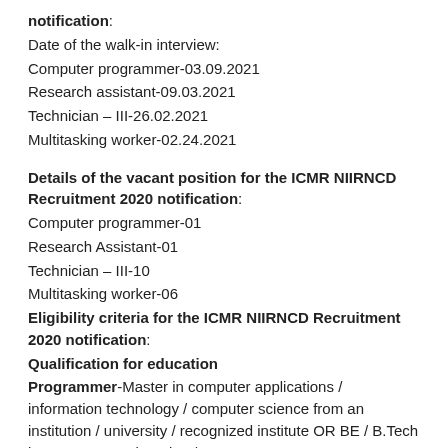notification:
Date of the walk-in interview:
Computer programmer-03.09.2021
Research assistant-09.03.2021
Technician – III-26.02.2021
Multitasking worker-02.24.2021
Details of the vacant position for the ICMR NIIRNCD Recruitment 2020 notification:
Computer programmer-01
Research Assistant-01
Technician – III-10
Multitasking worker-06
Eligibility criteria for the ICMR NIIRNCD Recruitment 2020 notification:
Qualification for education
Programmer-Master in computer applications / information technology / computer science from an institution / university / recognized institute OR BE / B.Tech in computer engineering /